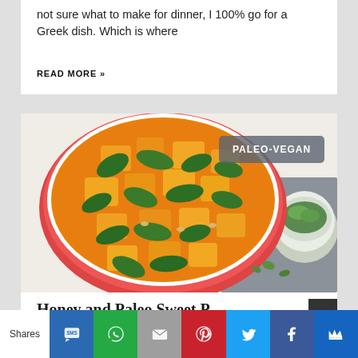not sure what to make for dinner, I 100% go for a Greek dish. Which is where
READ MORE »
[Figure (photo): Overhead view of a large Dutch oven/pot with an orange-sauced dish containing cubed squash and wilted spinach, with a bowl of greens visible to the right. A 'PALEO-VEGAN' badge overlays the upper right corner.]
Honey and Paleo Sweet P...